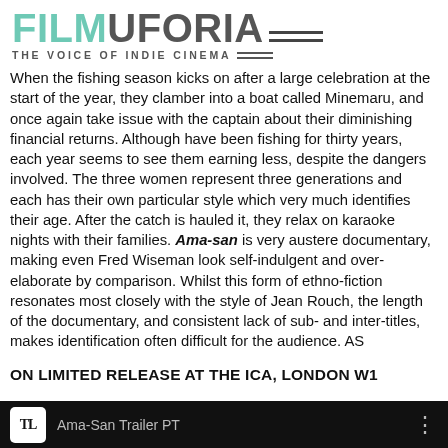FILMUFORIA — THE VOICE OF INDIE CINEMA
When the fishing season kicks on after a large celebration at the start of the year, they clamber into a boat called Minemaru, and once again take issue with the captain about their diminishing financial returns. Although have been fishing for thirty years, each year seems to see them earning less, despite the dangers involved. The three women represent three generations and each has their own particular style which very much identifies their age. After the catch is hauled it, they relax on karaoke nights with their families. Ama-san is very austere documentary, making even Fred Wiseman look self-indulgent and over-elaborate by comparison. Whilst this form of ethno-fiction resonates most closely with the style of Jean Rouch, the length of the documentary, and consistent lack of sub- and inter-titles, makes identification often difficult for the audience. AS
ON LIMITED RELEASE AT THE ICA, LONDON W1
[Figure (screenshot): Video player bar showing TL icon and 'Ama-San Trailer PT' title on dark background]